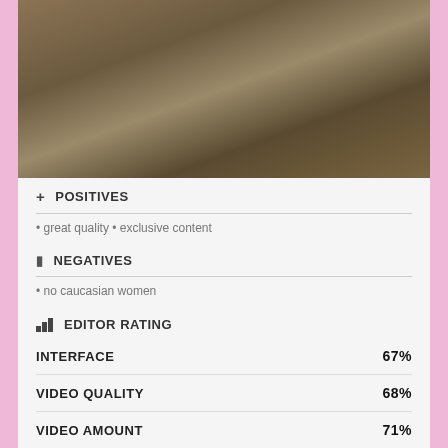[Figure (photo): Outdoor photo of people on a green blanket in a natural bush/scrubland setting]
+ POSITIVES
• great quality • exclusive content
— NEGATIVES
• no caucasian women
EDITOR RATING
| Category | Score |
| --- | --- |
| INTERFACE | 67% |
| VIDEO QUALITY | 68% |
| VIDEO AMOUNT | 71% |